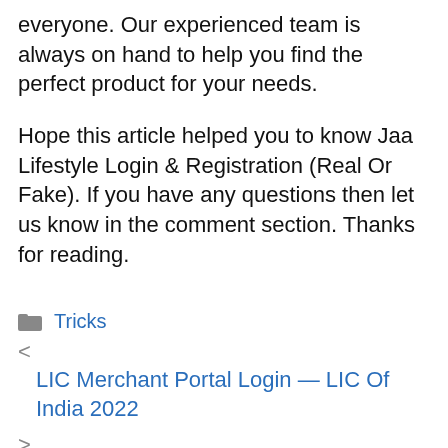everyone. Our experienced team is always on hand to help you find the perfect product for your needs.
Hope this article helped you to know Jaa Lifestyle Login & Registration (Real Or Fake). If you have any questions then let us know in the comment section. Thanks for reading.
Tricks
< LIC Merchant Portal Login — LIC Of India 2022
> Parivar Pehchan Patra (Family ID Haryana) 2022, Meraparivar.Haryana.Gov.In